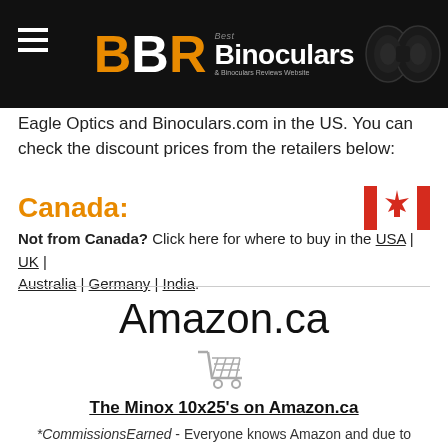[Figure (logo): BBR Best Binoculars & Binoculars Reviews Website logo on black header with hamburger menu and binoculars image]
Eagle Optics and Binoculars.com in the US. You can check the discount prices from the retailers below:
Canada:
Not from Canada? Click here for where to buy in the USA | UK | Australia | Germany | India.
Amazon.ca
[Figure (illustration): Shopping cart icon]
The Minox 10x25's on Amazon.ca
*CommissionsEarned - Everyone knows Amazon and due to